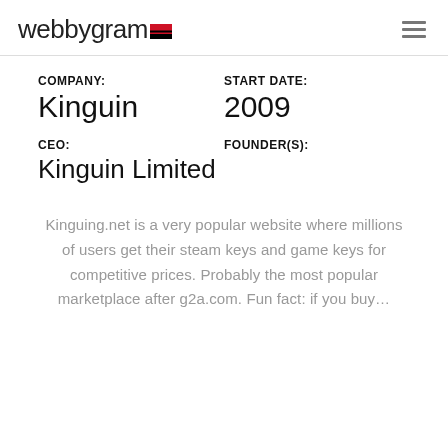webbygram
COMPANY: Kinguin | START DATE: 2009 | CEO: Kinguin Limited | FOUNDER(S):
Kinguing.net is a very popular website where millions of users get their steam keys and game keys for competitive prices. Probably the most popular marketplace after g2a.com. Fun fact: if you buy...